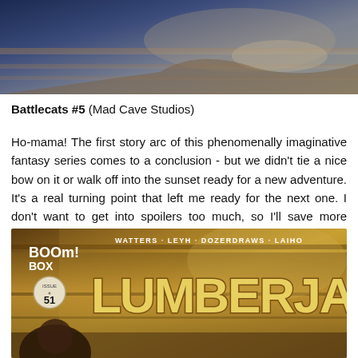[Figure (photo): Top portion of a comic book page showing a dark fantasy scene with a figure in blue/dark tones on wooden planks]
Battlecats #5 (Mad Cave Studios)
Ho-mama! The first story arc of this phenomenally imaginative fantasy series comes to a conclusion - but we didn't tie a nice bow on it or walk off into the sunset ready for a new adventure. It's a real turning point that left me ready for the next one. I don't want to get into spoilers too much, so I'll save more thoughts for a full review ahead of the upcoming trade paperback release. But seriously guys - pick this one up!
[Figure (photo): Comic book cover for Lumberjanes #51 from BOOM! Box imprint. Shows title LUMBERJANES in large yellow letters, creators listed as WATTERS · LEYH · DOZERDRAWS · LAIHO, with a character visible at the bottom left.]